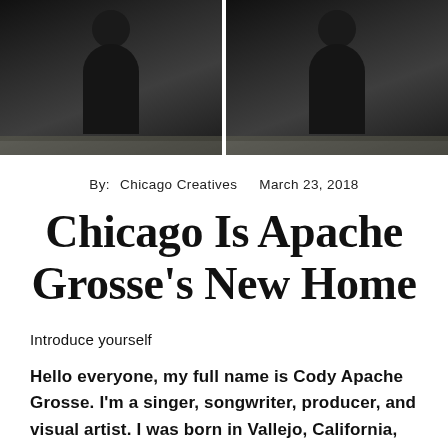[Figure (photo): Two-panel photo strip showing a person (presumably Apache Grosse) photographed twice side by side, dark moody background with industrial or architectural elements visible]
By:  Chicago Creatives     March 23, 2018
Chicago Is Apache Grosse's New Home
Introduce yourself
Hello everyone, my full name is Cody Apache Grosse. I'm a singer, songwriter, producer, and visual artist. I was born in Vallejo, California, raised in Phoenix, Arizona, and then I moved to